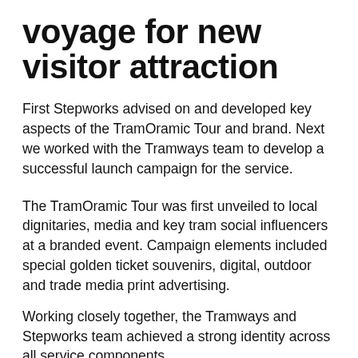voyage for new visitor attraction
First Stepworks advised on and developed key aspects of the TramOramic Tour and brand. Next we worked with the Tramways team to develop a successful launch campaign for the service.
The TramOramic Tour was first unveiled to local dignitaries, media and key tram social influencers at a branded event. Campaign elements included special golden ticket souvenirs, digital, outdoor and trade media print advertising.
Working closely together, the Tramways and Stepworks team achieved a strong identity across all service components.